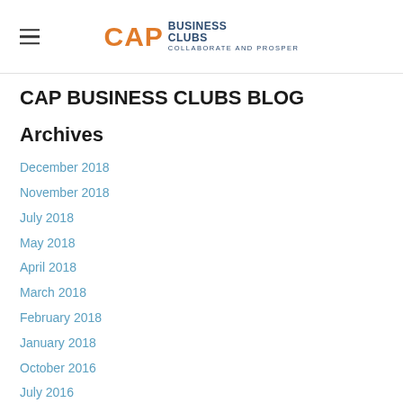CAP BUSINESS CLUBS — COLLABORATE AND PROSPER
CAP BUSINESS CLUBS BLOG
Archives
December 2018
November 2018
July 2018
May 2018
April 2018
March 2018
February 2018
January 2018
October 2016
July 2016
March 2016
February 2016
November 2015
October 2015